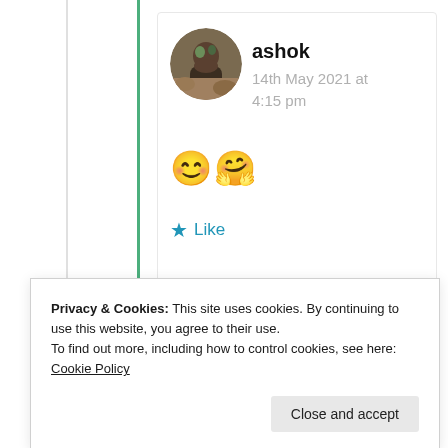[Figure (photo): Circular avatar photo of a person sitting outdoors on rocky terrain]
ashok
14th May 2021 at 4:15 pm
😊🤗
★ Like
Advertisements
[Figure (logo): Sensei logo: white circle with tree icon and text 'sensei' on black background]
Privacy & Cookies: This site uses cookies. By continuing to use this website, you agree to their use.
To find out more, including how to control cookies, see here: Cookie Policy
Close and accept
Learn More